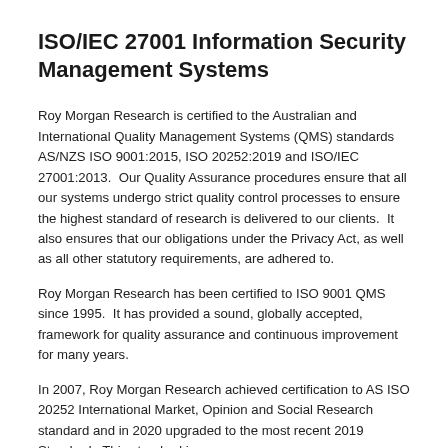ISO/IEC 27001 Information Security Management Systems
Roy Morgan Research is certified to the Australian and International Quality Management Systems (QMS) standards AS/NZS ISO 9001:2015, ISO 20252:2019 and ISO/IEC 27001:2013.  Our Quality Assurance procedures ensure that all our systems undergo strict quality control processes to ensure the highest standard of research is delivered to our clients.  It also ensures that our obligations under the Privacy Act, as well as all other statutory requirements, are adhered to.
Roy Morgan Research has been certified to ISO 9001 QMS since 1995.  It has provided a sound, globally accepted, framework for quality assurance and continuous improvement for many years.
In 2007, Roy Morgan Research achieved certification to AS ISO 20252 International Market, Opinion and Social Research standard and in 2020 upgraded to the most recent 2019 Standard.  This standard is